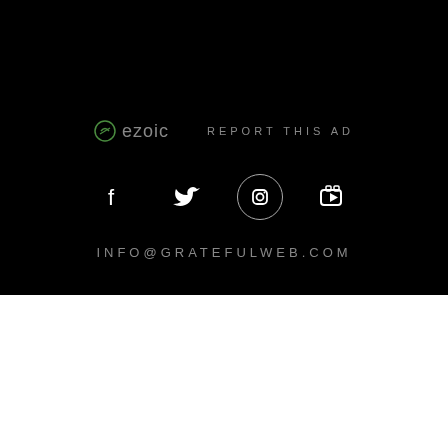[Figure (logo): Ezoic logo with green circle icon and gray text, followed by REPORT THIS AD text in gray uppercase letters]
[Figure (infographic): Social media icons row: Facebook, Twitter, Instagram (circled), YouTube icons in white on black background]
INFO@GRATEFULWEB.COM